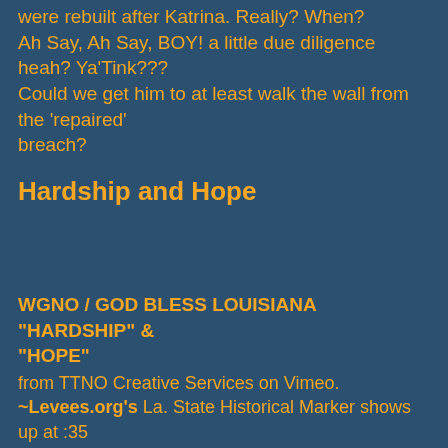were rebuilt after Katrina. Really? When? Ah Say, Ah Say, BOY! a little due diligence heah? Ya'Tink??? Could we get him to at least walk the wall from the 'repaired' breach?
Hardship and Hope
WGNO / GOD BLESS LOUISIANA "HARDSHIP" & "HOPE"
from TTNO Creative Services on Vimeo.
~Levees.org's La. State Historical Marker shows up at :35